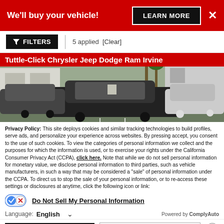We'll buy your vehicle!
LEARN MORE
FILTERS  5 applied  [Clear]
[Figure (photo): Tuttle-Click Chrysler Jeep Dodge Ram Irvine dealership lot with multiple vehicles parked outside]
Privacy Policy: This site deploys cookies and similar tracking technologies to build profiles, serve ads, and personalize your experience across websites. By pressing accept, you consent to the use of such cookies. To view the categories of personal information we collect and the purposes for which the information is used, or to exercise your rights under the California Consumer Privacy Act (CCPA), click here. Note that while we do not sell personal information for monetary value, we disclose personal information to third parties, such as vehicle manufacturers, in such a way that may be considered a "sale" of personal information under the CCPA. To direct us to stop the sale of your personal information, or to re-access these settings or disclosures at anytime, click the following icon or link:
Do Not Sell My Personal Information
Language: English
Powered by ComplyAuto
Accept and Continue →
California Privacy Disclosures